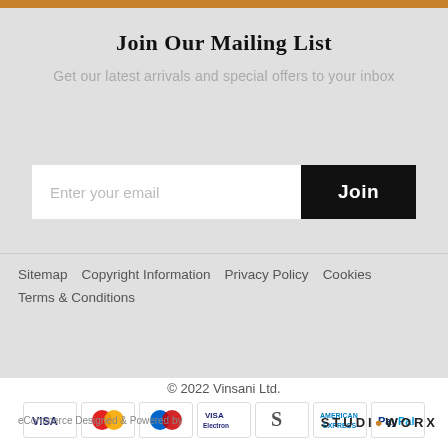Join Our Mailing List
Get our latest arrivals and special offers to your inbox
Enter your email  Join
Sitemap
Copyright Information
Privacy Policy
Cookies
Terms & Conditions
© 2022 Vinsani Ltd.
[Figure (infographic): Payment method icons: VISA, MasterCard, Maestro, VISA Electron, Skrill, American Express, PayPal]
eCommerce Designed & Powered by   STUDIOWORX